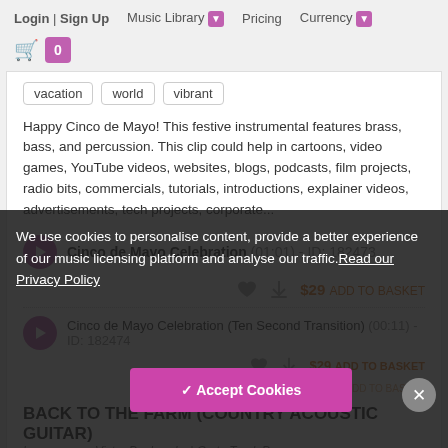Login | Sign Up   Music Library ☐   Pricing   Currency ☐
🛒 0
vacation   world   vibrant
Happy Cinco de Mayo! This festive instrumental features brass, bass, and percussion. This clip could help in cartoons, video games, YouTube videos, websites, blogs, podcasts, film projects, radio bits, commercials, tutorials, introductions, explainer videos, advertisements, tech projects, corporate...
Cinco de Mayo Celebration (01:01) - ID: 182473
$29 ADD TO BASKET
Cinco de Mayo Celebration (Ten Second Transition) (00:11) - ID: 182474
$29 ADD TO BASKET
$29 ADD TO BASKET
BACK TO THE FARM (COUNTRY ACOUSTIC GUITAR)
by composer Victor Penkovsky | Go to Track Page
We use cookies to personalise content, provide a better experience of our music licensing platform and analyse our traffic.Read our Privacy Policy
✓ Accept Cookies